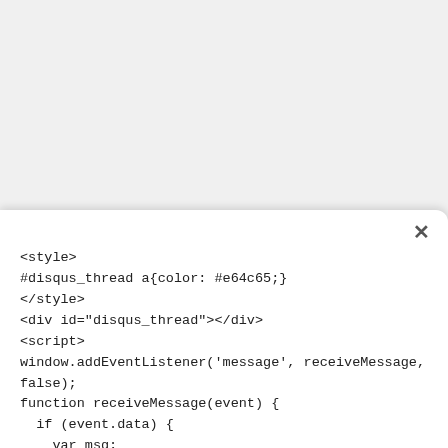<style>
#disqus_thread a{color: #e64c65;}
</style>
<div id="disqus_thread"></div>
<script>
window.addEventListener('message', receiveMessage,
false);
function receiveMessage(event) {
  if (event.data) {
    var msg;
    try {
     msg = JSON.parse(event.data);
    } catch (err) {